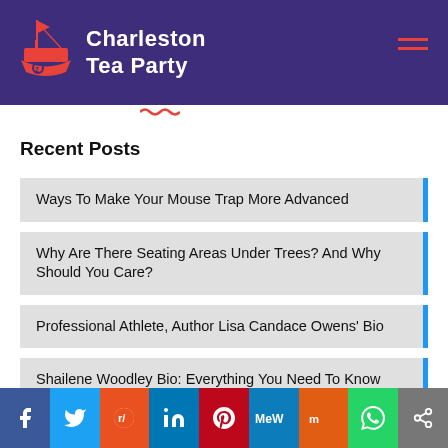Charleston Tea Party
Recent Posts
Ways To Make Your Mouse Trap More Advanced
Why Are There Seating Areas Under Trees? And Why Should You Care?
Professional Athlete, Author Lisa Candace Owens' Bio
Shailene Woodley Bio: Everything You Need To Know
Does Your Shower Need A Trap?
Facebook | Twitter | Reddit | LinkedIn | Pinterest | MeWe | Mix | WhatsApp | Share